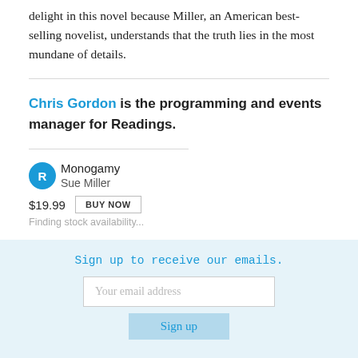delight in this novel because Miller, an American best-selling novelist, understands that the truth lies in the most mundane of details.
Chris Gordon is the programming and events manager for Readings.
Monogamy
Sue Miller
$19.99
Finding stock availability...
Sign up to receive our emails.
Your email address
Sign up